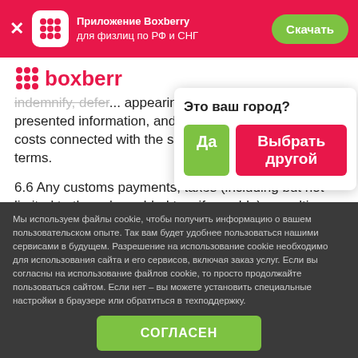Приложение Boxberry для физлиц по РФ и СНГ
[Figure (screenshot): Boxberry app banner with close button, icon, text and download button]
indemnify, defend and hold harmless Boxberry from any claims appearing in connection with the presented information, and pay any administration costs connected with the services stipulated by these terms.
6.6 Any customs payments, taxes (including but not limited to the value added tax, if payable), penalties,
Это ваш город?
Да    Выбрать другой
Мы используем файлы cookie, чтобы получить информацию о вашем пользовательском опыте. Так вам будет удобнее пользоваться нашими сервисами в будущем. Разрешение на использование cookie необходимо для использования сайта и его сервисов, включая заказ услуг. Если вы согласны на использование файлов cookie, то просто продолжайте пользоваться сайтом. Если нет – вы можете установить специальные настройки в браузере или обратиться в техподдержку.
СОГЛАСЕН